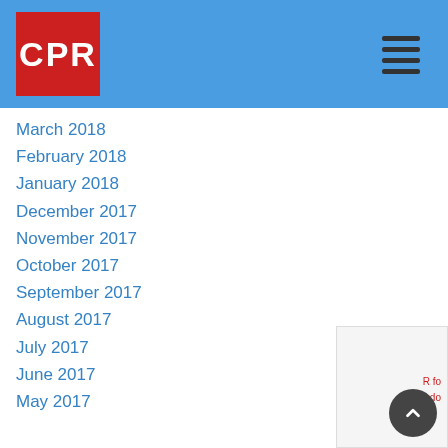CPR
March 2018
February 2018
January 2018
December 2017
November 2017
October 2017
September 2017
August 2017
July 2017
June 2017
May 2017
Categories
Agency Spotlight
Agency Testimonial
Compliance
News